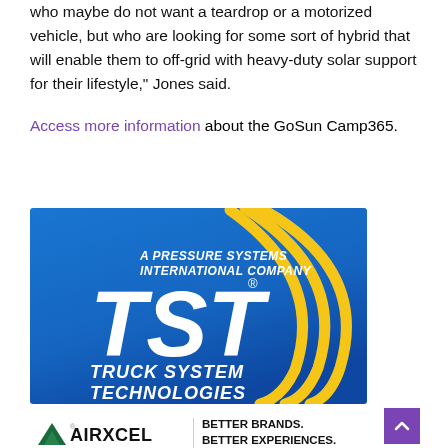who maybe do not want a teardrop or a motorized vehicle, but who are looking for some sort of hybrid that will enable them to off-grid with heavy-duty solar support for their lifestyle," Jones said.
Access more information about the GoSun Camp365.
[Figure (logo): TST Truck System Technologies logo on blue background with yellow arc swoosh design. Text reads: A Pressure Systems International Company, TST (large white letters), Truck System Technologies]
[Figure (logo): Airxcel logo with mountain triangle icon and text AIRXCEL, followed by tagline BETTER BRANDS. BETTER EXPERIENCES.]